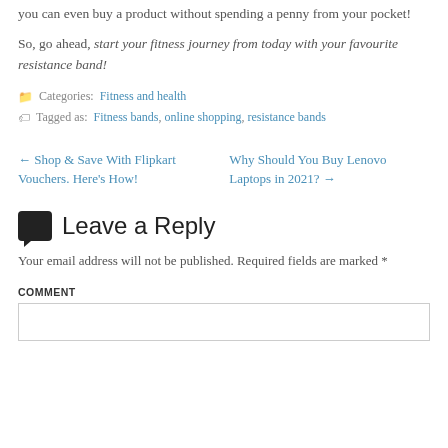you can even buy a product without spending a penny from your pocket!
So, go ahead, start your fitness journey from today with your favourite resistance band!
Categories: Fitness and health
Tagged as: Fitness bands, online shopping, resistance bands
← Shop & Save With Flipkart Vouchers. Here's How!
Why Should You Buy Lenovo Laptops in 2021? →
Leave a Reply
Your email address will not be published. Required fields are marked *
COMMENT